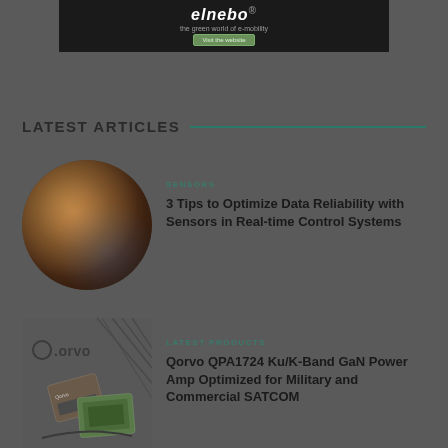[Figure (illustration): Advertisement banner with dark background showing a website/brand logo, tagline 'the green world of e-mobility' and a 'Visit the website' button]
LATEST ARTICLES
[Figure (photo): Circular thumbnail photo showing colorful industrial/sensor imagery with orange, brown and blue tones]
SENSORS
3 Tips to Optimize Data Reliability with Sensors in Real-time Control Systems
[Figure (logo): Qorvo brand logo with product imagery including PCB chips and cross/crosshair graphic elements]
LATEST PRODUCTS
Qorvo QPA1724 Ku/K-Band GaN Power Amp Optimized for Military and Commercial SATCOM